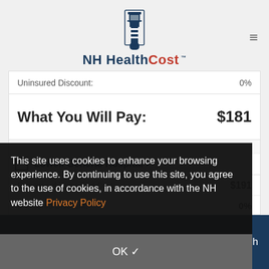[Figure (logo): NH HealthCost lighthouse logo with text 'NH HealthCost TM']
Uninsured Discount:   0%
What You Will Pay:   $181
Lowell General Hospital >
Estimate of Procedure Cost:   $191
Uninsured Discount:   0%
What You Will Pay:   $191
This site uses cookies to enhance your browsing experience. By continuing to use this site, you agree to the use of cookies, in accordance with the NH website Privacy Policy
OK ✓
COMPARE SELECTED
Search